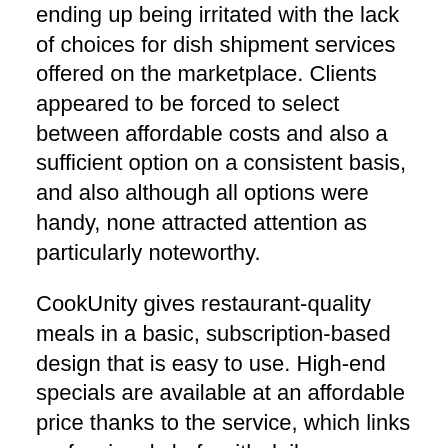ending up being irritated with the lack of choices for dish shipment services offered on the marketplace. Clients appeared to be forced to select between affordable costs and also a sufficient option on a consistent basis, and also although all options were handy, none attracted attention as particularly noteworthy.
CookUnity gives restaurant-quality meals in a basic, subscription-based design that is easy to use. High-end specials are available at an affordable price thanks to the service, which links professional chefs with daily consumers. CookUnity promotes itself as being a chef-driven establishment, serving customized dishes that differ weekly and